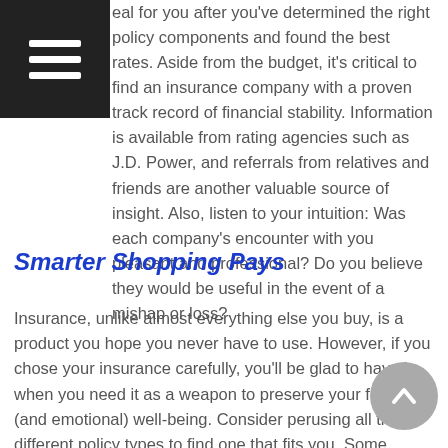eal for you after you've determined the right policy components and found the best rates. Aside from the budget, it's critical to find an insurance company with a proven track record of financial stability. Information is available from rating agencies such as J.D. Power, and referrals from relatives and friends are another valuable source of insight. Also, listen to your intuition: Was each company's encounter with you pleasant and professional? Do you believe they would be useful in the event of a mishap or loss?
Smarter Shopping Pays
Insurance, unlike almost everything else you buy, is a product you hope you never have to use. However, if you chose your insurance carefully, you'll be glad to have it when you need it as a weapon to preserve your financial (and emotional) well-being. Consider perusing all the different policy types to find one that fits you. Some